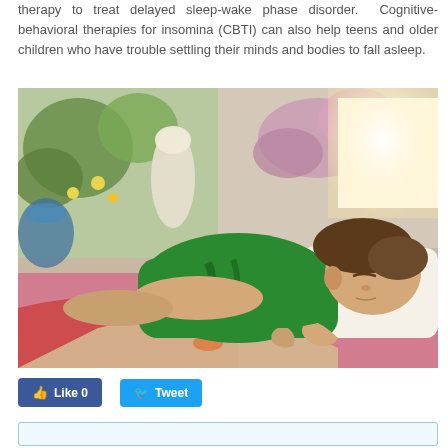therapy to treat delayed sleep-wake phase disorder. Cognitive-behavioral therapies for insomina (CBTI) can also help teens and older children who have trouble settling their minds and bodies to fall asleep.
[Figure (photo): A teenage boy wearing a green t-shirt sleeping/resting on a bed with pink bedding and a patterned pillow, with floral decorations in the background and a bright window]
Like 0   Tweet